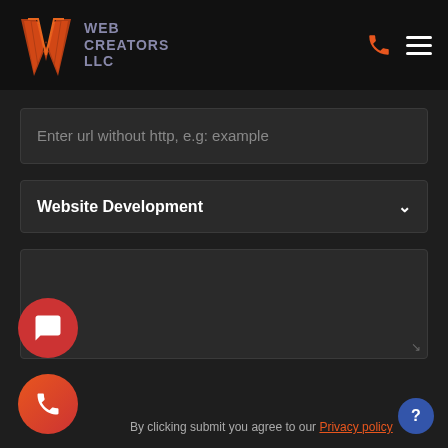[Figure (logo): Web Creators LLC logo with orange/red angular W icon and grey-purple text]
Enter url without http, e.g: example
Website Development
By clicking submit you agree to our Privacy policy